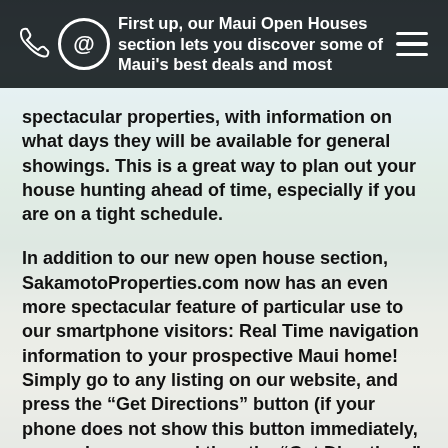First up, our Maui Open Houses section lets you discover some of Maui's best deals and most
spectacular properties, with information on what days they will be available for general showings. This is a great way to plan out your house hunting ahead of time, especially if you are on a tight schedule.
In addition to our new open house section, SakamotoProperties.com now has an even more spectacular feature of particular use to our smartphone visitors: Real Time navigation information to your prospective Maui home! Simply go to any listing on our website, and press the “Get Directions” button (if your phone does not show this button immediately, press show map and then the “Get Directions” button at the bottom of your screen.) With GPS/Location enabled, our smart mapping system will automatically discern your